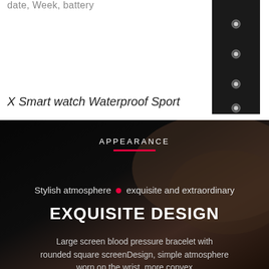date, Week, battery
[Figure (photo): Black watch band with white dots/holes visible on the right side of the page]
X Smart watch Waterproof Sport
[Figure (infographic): Dark background marketing section with a wrist/arm photo, APPEARANCE heading with red underline, stylish atmosphere bullet exquisite and extraordinary text, EXQUISITE DESIGN bold headline, and description text about large screen blood pressure bracelet]
APPEARANCE
Stylish atmosphere • exquisite and extraordinary
EXQUISITE DESIGN
Large screen blood pressure bracelet with rounded square screenDesign, simple atmosphere worn on the wrist, more convex